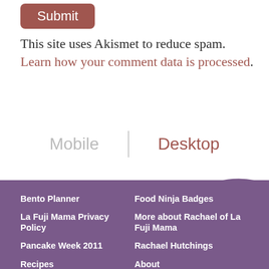[Figure (other): Submit button with rounded corners, dark brownish-red background]
This site uses Akismet to reduce spam. Learn how your comment data is processed.
[Figure (other): Mobile | Desktop toggle switcher with Mobile in grey and Desktop in brownish-red]
Bento Planner
Food Ninja Badges
La Fuji Mama Privacy Policy
More about Rachael of La Fuji Mama
Pancake Week 2011
Rachael Hutchings
Recipes
About